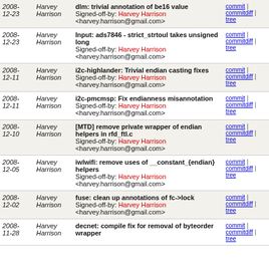| Date | Author | Description | Links |
| --- | --- | --- | --- |
| 2008-12-23 | Harvey Harrison | dlm: trivial annotation of be16 value
Signed-off-by: Harvey Harrison <harvey.harrison@gmail.com> | commit | commitdiff | tree |
| 2008-12-23 | Harvey Harrison | Input: ads7846 - strict_strtoul takes unsigned long
Signed-off-by: Harvey Harrison <harvey.harrison@gmail.com> | commit | commitdiff | tree |
| 2008-12-11 | Harvey Harrison | i2c-highlander: Trivial endian casting fixes
Signed-off-by: Harvey Harrison <harvey.harrison@gmail.com> | commit | commitdiff | tree |
| 2008-12-11 | Harvey Harrison | i2c-pmcmsp: Fix endianness misannotation
Signed-off-by: Harvey Harrison <harvey.harrison@gmail.com> | commit | commitdiff | tree |
| 2008-12-10 | Harvey Harrison | [MTD] remove private wrapper of endian helpers in rfd_ftl.c
Signed-off-by: Harvey Harrison <harvey.harrison@gmail.com> | commit | commitdiff | tree |
| 2008-12-05 | Harvey Harrison | iwlwifi: remove uses of __constant_{endian} helpers
Signed-off-by: Harvey Harrison <harvey.harrison@gmail.com> | commit | commitdiff | tree |
| 2008-12-02 | Harvey Harrison | fuse: clean up annotations of fc->lock
Signed-off-by: Harvey Harrison <harvey.harrison@gmail.com> | commit | commitdiff | tree |
| 2008-11-28 | Harvey Harrison | decnet: compile fix for removal of byteorder wrapper | commit | commitdiff | tree |